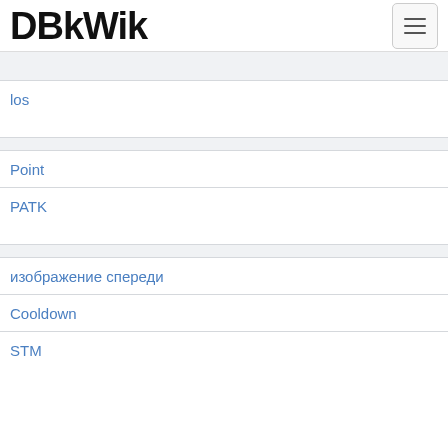DBKWik
los
Point
PATK
изображение спереди
Cooldown
STM